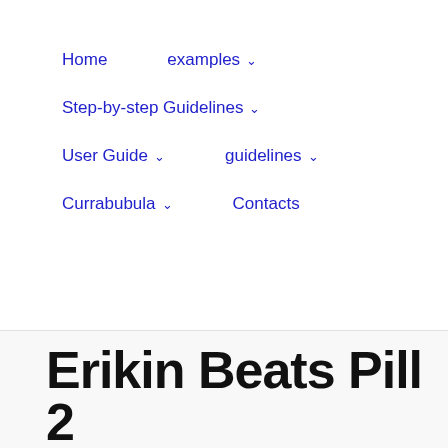Home   examples ˅   Step-by-step Guidelines ˅   User Guide ˅   guidelines ˅   Currabubula ˅   Contacts
Erikin Beats Pill 2 User Manual